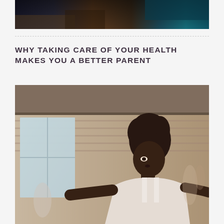[Figure (photo): Top cropped photo with dark blurred colors including teal, brown, and dark tones - partial image cut off at top]
WHY TAKING CARE OF YOUR HEALTH MAKES YOU A BETTER PARENT
[Figure (photo): Photo of a Black woman with natural hair working out in a gym with brick walls and windows in the background, other people blurred in background]